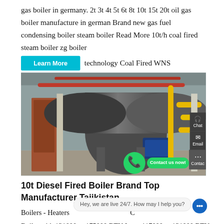gas boiler in germany. 2t 3t 4t 5t 6t 8t 10t 15t 20t oil gas boiler manufacture in german Brand new gas fuel condensing boiler steam boiler Read More 10t/h coal fired steam boiler zg boiler
technology Coal Fired WNS
[Figure (photo): Industrial boiler installation in a factory – large horizontal cylindrical steel boiler with yellow gas pipes, blue motor assembly, overhead red pipes, and concrete support structures]
10t Diesel Fired Boiler Brand Top Manufacturer Tajikistan
Boilers - Heaters
Boiler with 131000 to 175000 BTU Input 117000 to 131000 BTU